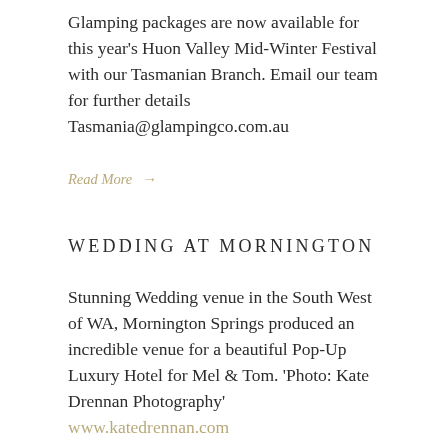Glamping packages are now available for this year's Huon Valley Mid-Winter Festival with our Tasmanian Branch. Email our team for further details Tasmania@glampingco.com.au
Read More →
WEDDING AT MORNINGTON
Stunning Wedding venue in the South West of WA, Mornington Springs produced an incredible venue for a beautiful Pop-Up Luxury Hotel for Mel & Tom. 'Photo: Kate Drennan Photography' www.katedrennan.com
Read More →